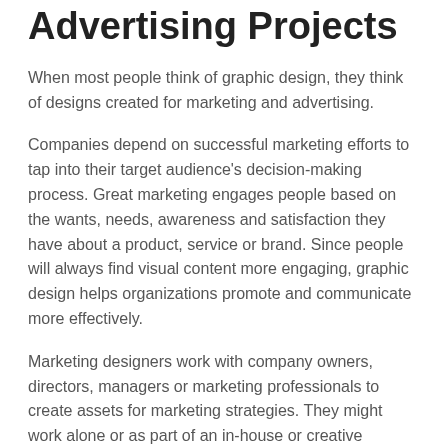Advertising Projects
When most people think of graphic design, they think of designs created for marketing and advertising.
Companies depend on successful marketing efforts to tap into their target audience's decision-making process. Great marketing engages people based on the wants, needs, awareness and satisfaction they have about a product, service or brand. Since people will always find visual content more engaging, graphic design helps organizations promote and communicate more effectively.
Marketing designers work with company owners, directors, managers or marketing professionals to create assets for marketing strategies. They might work alone or as part of an in-house or creative